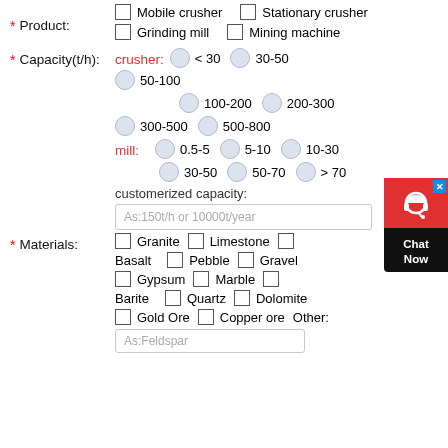Product: Mobile crusher, Stationary crusher, Grinding mill, Mining machine (checkboxes)
Capacity(t/h): crusher: <30, 30-50, 50-100, 100-200, 200-300, 300-500, 500-800 (radio); mill: 0.5-5, 5-10, 10-30, 30-50, 50-70, >70 (radio); customerized capacity input: As:150t/h or 10000t/year
Materials: Granite, Limestone, Basalt, Pebble, Gravel, Gypsum, Marble, Barite, Quartz, Dolomite, Gold Ore, Copper ore, Other (checkboxes); input: As:Feldspar